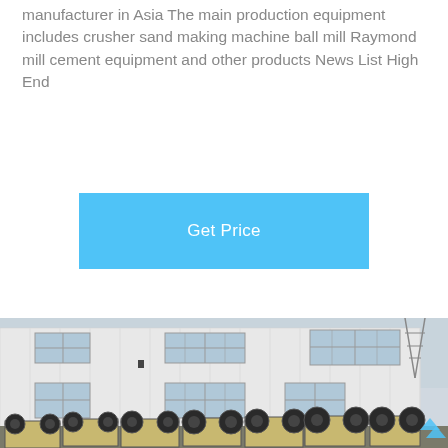manufacturer in Asia The main production equipment includes crusher sand making machine ball mill Raymond mill cement equipment and other products News List High End
[Figure (other): Blue 'Get Price' button]
[Figure (photo): Industrial factory building exterior with rows of jaw crusher machines lined up in the foreground, a large white corrugated metal warehouse in the background, and electrical pylons visible in the distance.]